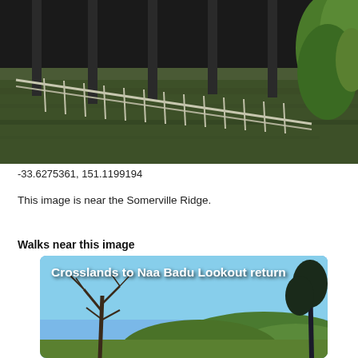[Figure (photo): Outdoor photo showing a flooded walkway or bridge railing submerged in greenish-brown water, with structural posts visible and green trees/foliage on the right side]
-33.6275361, 151.1199194
This image is near the Somerville Ridge.
Walks near this image
[Figure (photo): Walk card image titled 'Crosslands to Naa Badu Lookout return' showing a landscape with a bare tree against a blue sky and green hills in the background]